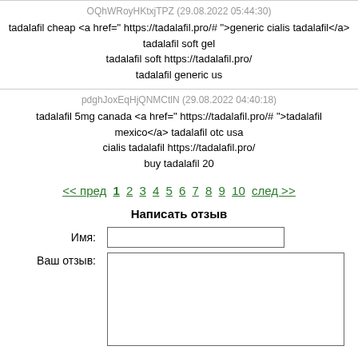OQhWRoyHKtxjTPZ (29.08.2022 05:44:30)
tadalafil cheap <a href=" https://tadalafil.pro/# ">generic cialis tadalafil</a> tadalafil soft gel tadalafil soft https://tadalafil.pro/ tadalafil generic us
pdghJoxEqHjQNMCtlN (29.08.2022 04:40:18)
tadalafil 5mg canada <a href=" https://tadalafil.pro/# ">tadalafil mexico</a> tadalafil otc usa cialis tadalafil https://tadalafil.pro/ buy tadalafil 20
<< пред 1 2 3 4 5 6 7 8 9 10 след >>
Написать отзыв
Имя:
Ваш отзыв: